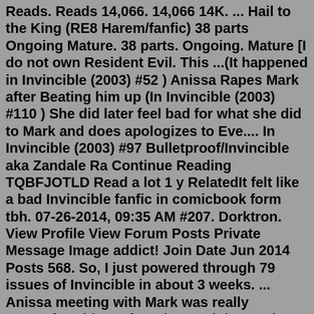Reads. Reads 14,066. 14,066 14K. ... Hail to the King (RE8 Harem/fanfic) 38 parts Ongoing Mature. 38 parts. Ongoing. Mature [I do not own Resident Evil. This ...(It happened in Invincible (2003) #52 ) Anissa Rapes Mark after Beating him up (In Invincible (2003) #110 ) She did later feel bad for what she did to Mark and does apologizes to Eve.... In Invincible (2003) #97 Bulletproof/Invincible aka Zandale Ra Continue Reading TQBFJOTLD Read a lot 1 y RelatedIt felt like a bad Invincible fanfic in comicbook form tbh. 07-26-2014, 09:35 AM #207. Dorktron. View Profile View Forum Posts Private Message Image addict! Join Date Jun 2014 Posts 568. So, I just powered through 79 issues of Invincible in about 3 weeks. ... Anissa meeting with Mark was really uncomfortable. Before the 111th issue she was one ...Grace and Anissa sift through records on a trip to the thrift store, and Grace asks Anissa a very important question. Anissa and Grace prepare for a BBQ at the Pierce house. Anissa and Grace do some